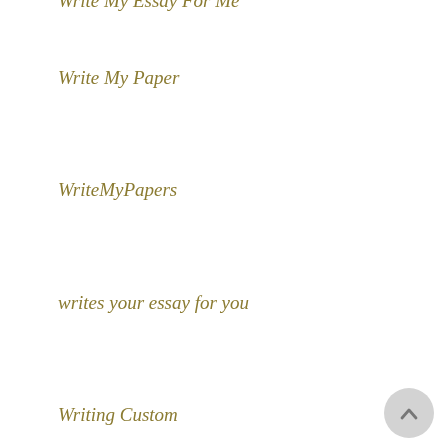Write My Paper
WriteMyPapers
writes your essay for you
Writing Custom
Writing Papers
Writing Tools and Services
Writing Websites
writing-help reliable
XBllog